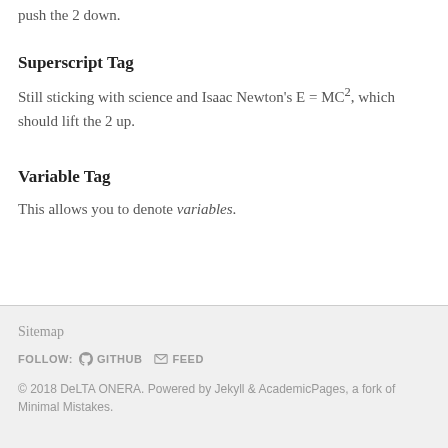push the 2 down.
Superscript Tag
Still sticking with science and Isaac Newton's E = MC², which should lift the 2 up.
Variable Tag
This allows you to denote variables.
Sitemap
FOLLOW: GITHUB FEED
© 2018 DeLTA ONERA. Powered by Jekyll & AcademicPages, a fork of Minimal Mistakes.